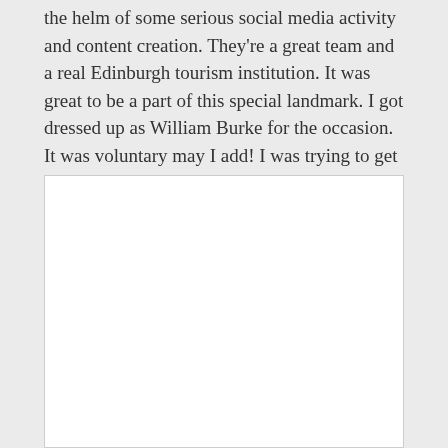the helm of some serious social media activity and content creation. They're a great team and a real Edinburgh tourism institution. It was great to be a part of this special landmark. I got dressed up as William Burke for the occasion. It was voluntary may I add! I was trying to get into character in this selfie. Poor tourists.
[Figure (photo): A white blank/placeholder image area representing an embedded photo]